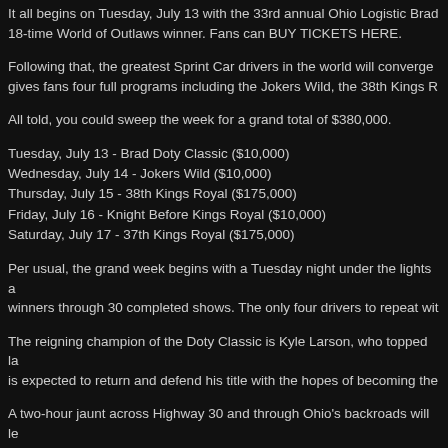It all begins on Tuesday, July 13 with the 33rd annual Ohio Logistic Brad 18-time World of Outlaws winner. Fans can BUY TICKETS HERE.
Following that, the greatest Sprint Car drivers in the world will converge gives fans four full programs including the Jokers Wild, the 38th Kings R
All told, you could sweep the week for a grand total of $380,000.
Tuesday, July 13 - Brad Doty Classic ($10,000)
Wednesday, July 14 - Jokers Wild ($10,000)
Thursday, July 15 - 38th Kings Royal ($175,000)
Friday, July 16 - Knight Before Kings Royal ($10,000)
Saturday, July 17 - 37th Kings Royal ($175,000)
Per usual, the grand week begins with a Tuesday night under the lights a winners through 30 completed shows. The only four drivers to repeat wit
The reigning champion of the Doty Classic is Kyle Larson, who topped la is expected to return and defend his title with the hopes of becoming the
A two-hour jaunt across Highway 30 and through Ohio's backroads will le pilgrimage to Rossburg called off due to the COVID-19 pandemic, Tony S down just as Jason Sides would.
They'll host a preliminary Jokers Wild program on Wednesday leading in